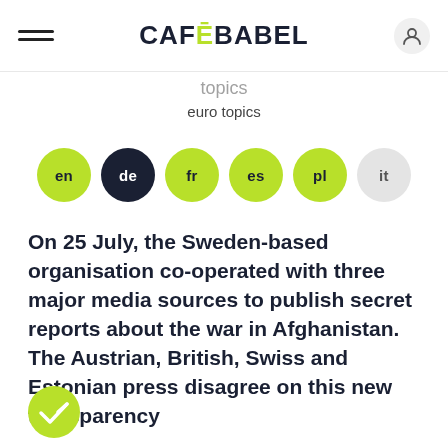CAFEBABEL
topics
euro topics
en  de  fr  es  pl  it
On 25 July, the Sweden-based organisation co-operated with three major media sources to publish secret reports about the war in Afghanistan. The Austrian, British, Swiss and Estonian press disagree on this new transparency